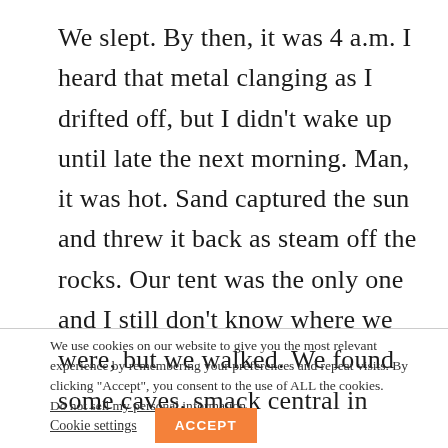We slept. By then, it was 4 a.m. I heard that metal clanging as I drifted off, but I didn't wake up until late the next morning. Man, it was hot. Sand captured the sun and threw it back as steam off the rocks. Our tent was the only one and I still don't know where we were, but we walked. We found some caves, smack central in
We use cookies on our website to give you the most relevant experience by remembering your preferences and repeat visits. By clicking “Accept”, you consent to the use of ALL the cookies. Do not sell my personal information.
Cookie settings
ACCEPT